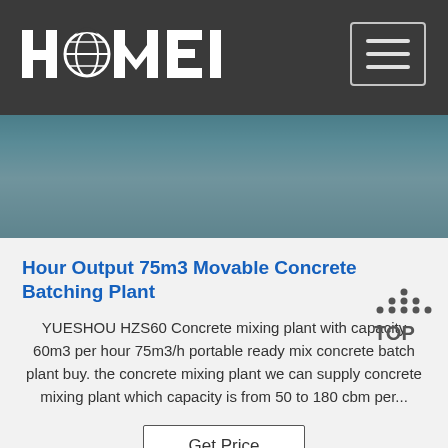[Figure (logo): HAOMEI company logo in white text on dark background with globe icon]
[Figure (photo): Industrial concrete batching plant machinery, blue-tinted hero image]
Hour Output 75m3 Movable Concrete Batching Plant
YUESHOU HZS60 Concrete mixing plant with capacity 60m3 per hour 75m3/h portable ready mix concrete batch plant buy. the concrete mixing plant we can supply concrete mixing plant which capacity is from 50 to 180 cbm per...
[Figure (other): Get Price button]
[Figure (photo): Orange crane/lifting equipment inside industrial warehouse, bottom strip image]